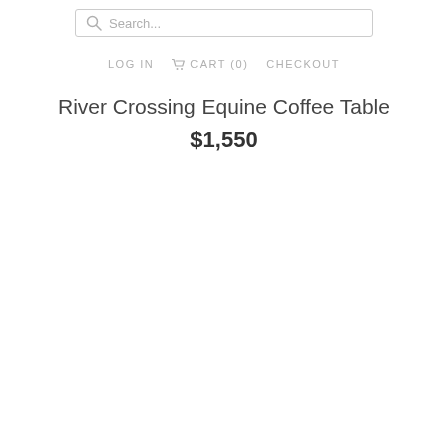Search...
LOG IN   CART (0)   CHECKOUT
River Crossing Equine Coffee Table
$1,550